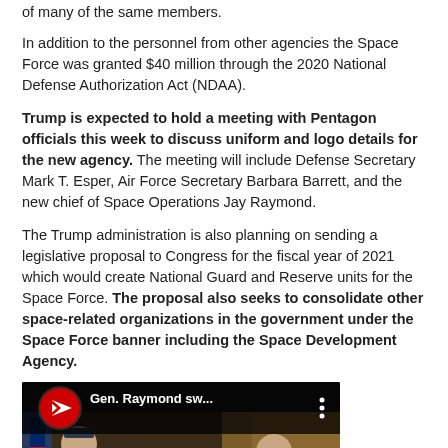of many of the same members.
In addition to the personnel from other agencies the Space Force was granted $40 million through the 2020 National Defense Authorization Act (NDAA).
Trump is expected to hold a meeting with Pentagon officials this week to discuss uniform and logo details for the new agency. The meeting will include Defense Secretary Mark T. Esper, Air Force Secretary Barbara Barrett, and the new chief of Space Operations Jay Raymond.
The Trump administration is also planning on sending a legislative proposal to Congress for the fiscal year of 2021 which would create National Guard and Reserve units for the Space Force. The proposal also seeks to consolidate other space-related organizations in the government under the Space Force banner including the Space Development Agency.
[Figure (screenshot): YouTube video thumbnail showing Gen. Raymond being sworn in, with text 'Gen. Raymond sw...' and Global News branding. People in military uniform and civilian dress visible with an official swearing-in ceremony setting.]